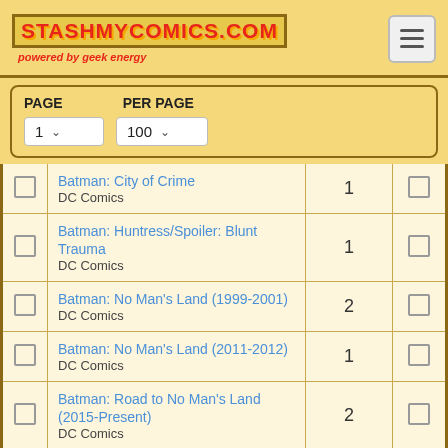[Figure (logo): StashMyComics.com logo with 'powered by geek energy' tagline]
|  | Title / Publisher | Count |  |
| --- | --- | --- | --- |
| ☐ | Batman: City of Crime
DC Comics | 1 | ☐ |
| ☐ | Batman: Huntress/Spoiler: Blunt Trauma
DC Comics | 1 | ☐ |
| ☐ | Batman: No Man's Land (1999-2001)
DC Comics | 2 | ☐ |
| ☐ | Batman: No Man's Land (2011-2012)
DC Comics | 1 | ☐ |
| ☐ | Batman: Road to No Man's Land (2015-Present)
DC Comics | 2 | ☐ |
| ☐ | Batman: Shadow of the Bat (1992- | 1 | ☐ |